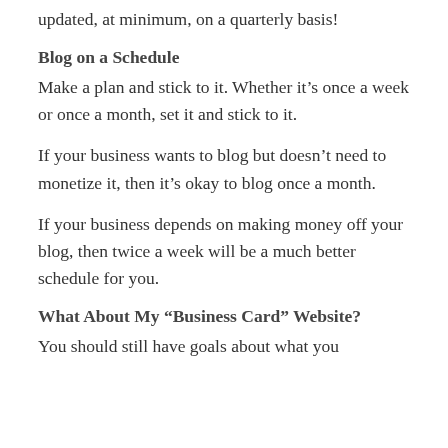updated, at minimum, on a quarterly basis!
Blog on a Schedule
Make a plan and stick to it. Whether it’s once a week or once a month, set it and stick to it.
If your business wants to blog but doesn’t need to monetize it, then it’s okay to blog once a month.
If your business depends on making money off your blog, then twice a week will be a much better schedule for you.
What About My “Business Card” Website?
You should still have goals about what you